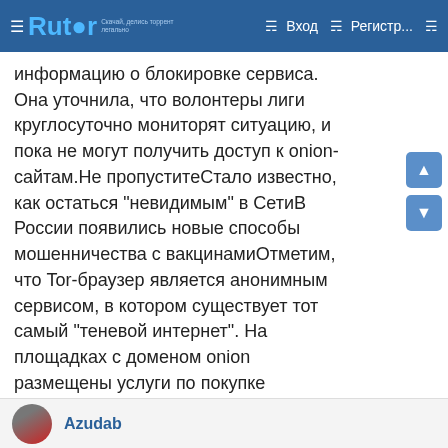Rutor | Вход | Регистр...
информацию о блокировке сервиса. Она уточнила, что волонтеры лиги круглосуточно мониторят ситуацию, и пока не могут получить доступ к onion-сайтам.Не пропуститеСтало известно, как остаться "невидимым" в СетиВ России появились новые способы мошенничества с вакцинамиОтметим, что Tor-браузер является анонимным сервисом, в котором существует тот самый "теневой интернет". На площадках с доменом onion размещены услуги по покупке наркотиков, оружия, нецензурного запрещенного контента, личных данных и т.д. Первые сообщения о блокировке "даркнета" в России начались 1 декабря.Стоит учесть, что заблокированными стали именно onion-сайты. Обычные страницы, например известные поисковики Google или Yandex остаются доступными пользователям Tor.Ранее Online47 подробнее сообщил о причастности к блокировкам Лиги свободного интернета.Фото: pixabay
Azudab